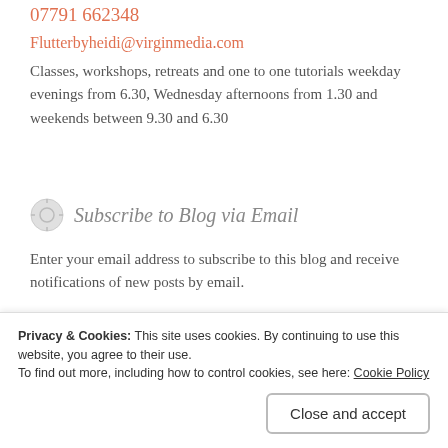07791 662348
Flutterbyheidi@virginmedia.com
Classes, workshops, retreats and one to one tutorials weekday evenings from 6.30, Wednesday afternoons from 1.30 and weekends between 9.30 and 6.30
Subscribe to Blog via Email
Enter your email address to subscribe to this blog and receive notifications of new posts by email.
Join 788 other subscribers.
Email Address
Privacy & Cookies: This site uses cookies. By continuing to use this website, you agree to their use.
To find out more, including how to control cookies, see here: Cookie Policy
Close and accept